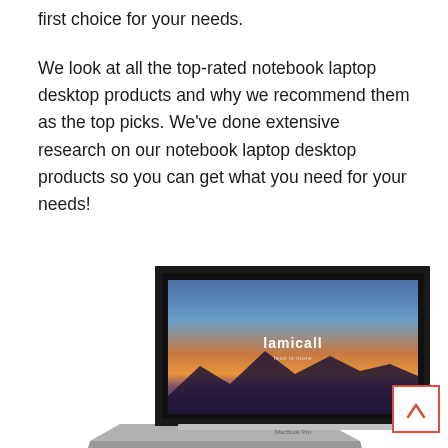first choice for your needs.
We look at all the top-rated notebook laptop desktop products and why we recommend them as the top picks. We've done extensive research on our notebook laptop desktop products so you can get what you need for your needs!
[Figure (photo): A laptop (MacBook Pro) shown at an angle with a Lamicall branded wallpaper displaying a scenic sunset/dusk landscape on the screen.]